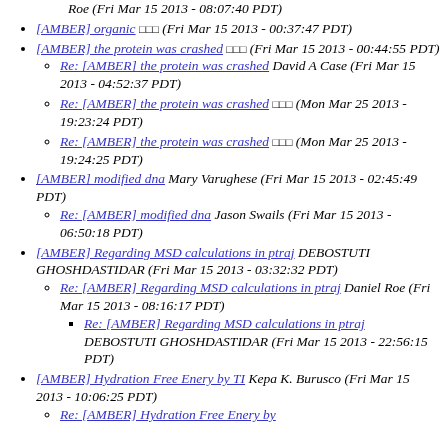Roe (Fri Mar 15 2013 - 08:07:40 PDT)
[AMBER] organic [squares] (Fri Mar 15 2013 - 00:37:47 PDT)
[AMBER] the protein was crashed [squares] (Fri Mar 15 2013 - 00:44:55 PDT)
Re: [AMBER] the protein was crashed David A Case (Fri Mar 15 2013 - 04:52:37 PDT)
Re: [AMBER] the protein was crashed [squares] (Mon Mar 25 2013 - 19:23:24 PDT)
Re: [AMBER] the protein was crashed [squares] (Mon Mar 25 2013 - 19:24:25 PDT)
[AMBER] modified dna Mary Varughese (Fri Mar 15 2013 - 02:45:49 PDT)
Re: [AMBER] modified dna Jason Swails (Fri Mar 15 2013 - 06:50:18 PDT)
[AMBER] Regarding MSD calculations in ptraj DEBOSTUTI GHOSHDASTIDAR (Fri Mar 15 2013 - 03:32:32 PDT)
Re: [AMBER] Regarding MSD calculations in ptraj Daniel Roe (Fri Mar 15 2013 - 08:16:17 PDT)
Re: [AMBER] Regarding MSD calculations in ptraj DEBOSTUTI GHOSHDASTIDAR (Fri Mar 15 2013 - 22:56:15 PDT)
[AMBER] Hydration Free Enery by TI Kepa K. Burusco (Fri Mar 15 2013 - 10:06:25 PDT)
Re: [AMBER] Hydration Free Enery by